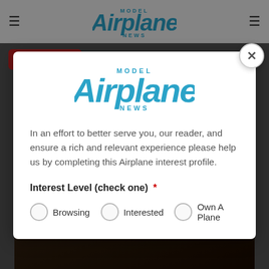[Figure (screenshot): Model Airplane News website screenshot showing navigation bar with hamburger menus and logo at top, a red button, and a dark photo of an airplane wing at the bottom]
[Figure (screenshot): Modal dialog popup with Model Airplane News logo, text asking user to complete an airplane interest profile, and radio button options for Interest Level: Browsing, Interested, Own A Plane]